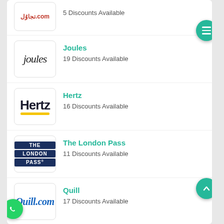5 Discounts Available
Joules
19 Discounts Available
Hertz
16 Discounts Available
The London Pass
11 Discounts Available
Quill
17 Discounts Available
24-7 Press Release
8 Discounts Available